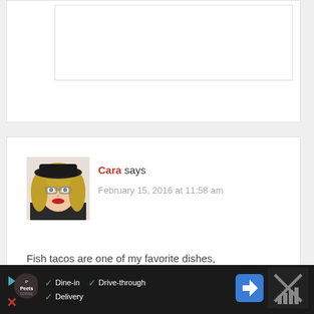[Figure (screenshot): Top partial comment card with white background and inner bordered box, partially visible at top of page]
[Figure (photo): Profile photo of a blonde woman wearing a black hat and red lipstick]
Cara says
February 15, 2016 at 11:58 am
Fish tacos are one of my favorite dishes, and this salad is so colorful and delicious looking! Sorry for the bad experience with
[Figure (screenshot): Advertisement bar at bottom: Peet's Coffee logo, Dine-in, Drive-through, Delivery checkmarks, navigation arrow icon, and another brand logo on right]